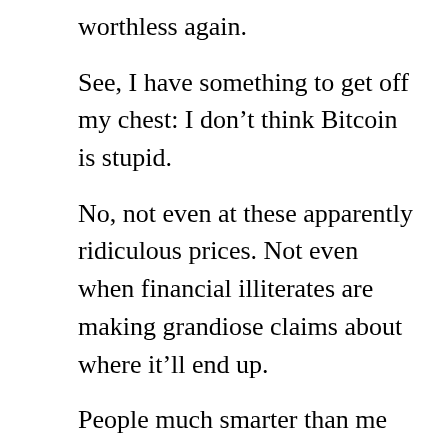worthless again.
See, I have something to get off my chest: I don't think Bitcoin is stupid.
No, not even at these apparently ridiculous prices. Not even when financial illiterates are making grandiose claims about where it'll end up.
People much smarter than me have made the case for Bitcoin using careful technical or fundamental arguments. I'm not going to attempt that in this post, or regurgitate the basics of cryptocurrency (I'll suggest